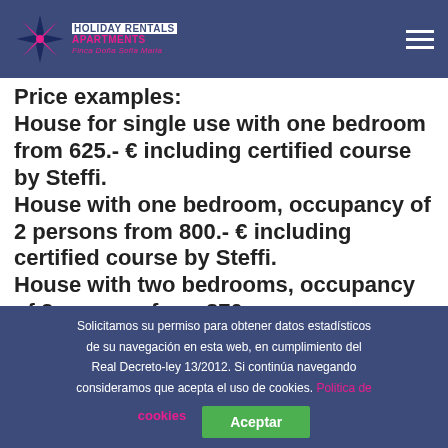[Figure (logo): Holiday Rentals Apartments - Finca Doña Sofia Maria logo with star/snowflake shape]
Price examples:
House for single use with one bedroom from 625.- € including certified course by Steffi. House with one bedroom, occupancy of 2 persons from 800.- € including certified course by Steffi. House with two bedrooms, occupancy of 2 persons from 870.-
Solicitamos su permiso para obtener datos estadísticos de su navegación en esta web, en cumplimiento del Real Decreto-ley 13/2012. Si continúa navegando consideramos que acepta el uso de cookies. Politica de cookies
Aceptar